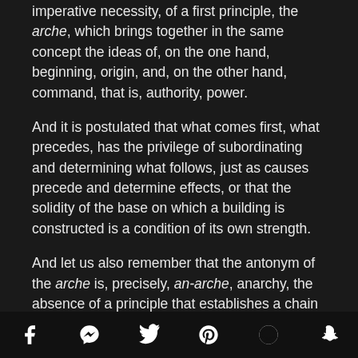imperative necessity, of a first principle, the arche, which brings together in the same concept the ideas of, on the one hand, beginning, origin, and, on the other hand, command, that is, authority, power.
And it is postulated that what comes first, what precedes, has the privilege of subordinating and determining what follows, just as causes precede and determine effects, or that the solidity of the base on which a building is constructed is a condition of its own strength.
And let us also remember that the antonym of the arche is, precisely, an-arche, anarchy, the absence of a principle that establishes a chain of command, a hierarchy. It is an anarchy which refers to no
[social share icons: Facebook, Messenger, Twitter, Pinterest, Reddit, Snapchat]